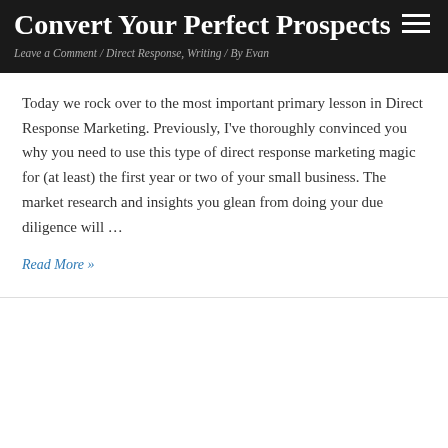Convert Your Perfect Prospects
Leave a Comment / Direct Response, Writing / By Evan
Today we rock over to the most important primary lesson in Direct Response Marketing. Previously, I've thoroughly convinced you why you need to use this type of direct response marketing magic for (at least) the first year or two of your small business. The market research and insights you glean from doing your due diligence will …
Read More »